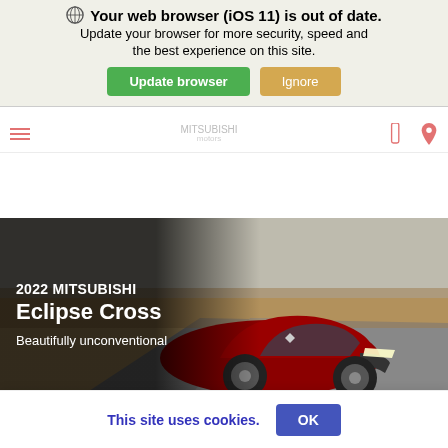Your web browser (iOS 11) is out of date. Update your browser for more security, speed and the best experience on this site.
Update browser
Ignore
[Figure (photo): 2022 Mitsubishi Eclipse Cross SUV driving on a road, hero image with dark overlay on left side]
2022 MITSUBISHI Eclipse Cross
Beautifully unconventional
VIEW INVENTORY
This site uses cookies.
OK